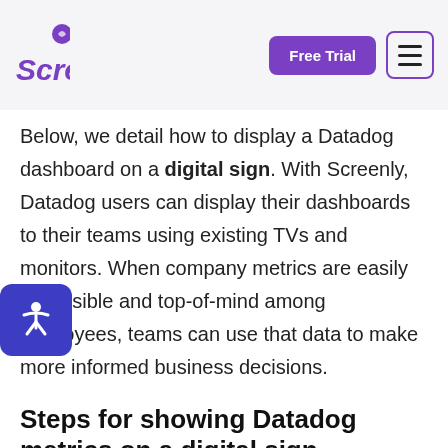Screenly — Free Trial [navigation]
Below, we detail how to display a Datadog dashboard on a digital sign. With Screenly, Datadog users can display their dashboards to their teams using existing TVs and monitors. When company metrics are easily accessible and top-of-mind among employees, teams can use that data to make more informed business decisions.
Steps for showing Datadog metrics on a digital sign
…w a Datadog dashboard on a digital sign, you …ill first need to generate a public share link for your dashboard. To do so: